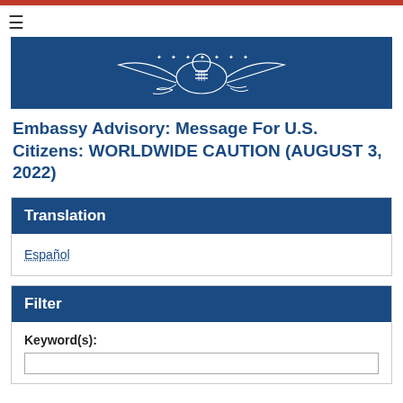[Figure (illustration): U.S. Embassy seal / eagle emblem on dark blue banner background]
Embassy Advisory: Message For U.S. Citizens: WORLDWIDE CAUTION (AUGUST 3, 2022)
Translation
Español
Filter
Keyword(s):